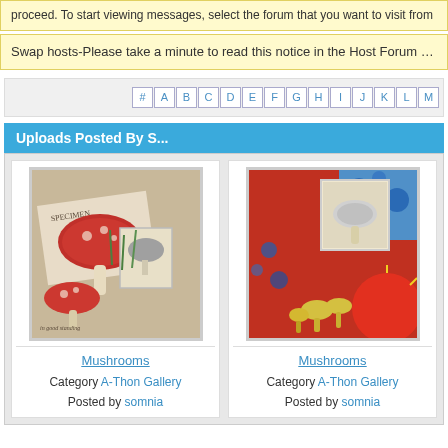proceed. To start viewing messages, select the forum that you want to visit from
Swap hosts-Please take a minute to read this notice in the Host Forum http://w
# A B C D E F G H I J K L M
Uploads Posted By S...
[Figure (photo): Mushroom collage artwork featuring stamp-style illustrations of mushrooms with text 'SPECIMEN' on vintage postcard background]
Mushrooms
Category A-Thon Gallery
Posted by somnia
[Figure (photo): Mushroom artwork with colorful background featuring stamps and floral/mushroom illustrations on red and blue background]
Mushrooms
Category A-Thon Gallery
Posted by somnia